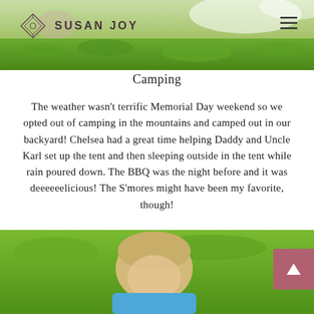[Figure (photo): Top photo strip showing grass/outdoor scene with a person partially visible, overlaid with the Susan Joy logo and hamburger menu]
SUSAN JOY
Camping
The weather wasn't terrific Memorial Day weekend so we opted out of camping in the mountains and camped out in our backyard! Chelsea had a great time helping Daddy and Uncle Karl set up the tent and then sleeping outside in the tent while rain poured down. The BBQ was the night before and it was deeeeeelicious! The S'mores might have been my favorite, though!
[Figure (photo): Bottom photo showing a blonde child lying on grass, partially cropped]